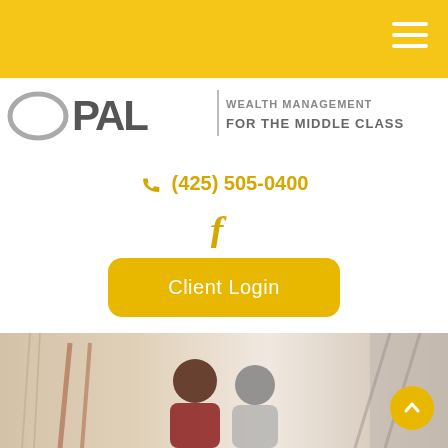[Figure (logo): OPAL Wealth Management for the Middle Class logo with hamburger menu icon in yellow top bar]
(425) 505-0400
[Figure (infographic): Facebook icon (f) in gold color]
Client Login
[Figure (photo): Older African American couple sitting together, smiling, looking at something off-camera; indoor home setting]